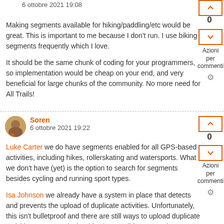6 ottobre 2021 19:08
Making segments available for hiking/paddling/etc would be great. This is important to me because I don't run. I use biking segments frequently which I love.

It should be the same chunk of coding for your programmers, so implementation would be cheap on your end, and very beneficial for large chunks of the community. No more need for All Trails!
Soren
6 ottobre 2021 19:22
Luke Carter we do have segments enabled for all GPS-based activities, including hikes, rollerskating and watersports. What we don't have (yet) is the option to search for segments besides cycling and running sport types.

Isa Johnson we already have a system in place that detects and prevents the upload of duplicate activities. Unfortunately, this isn't bulletproof and there are still ways to upload duplicate activities. However, it shouldn't be possible to record 2 activities with one